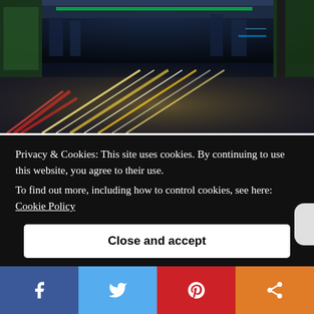[Figure (photo): Night city traffic photo showing busy road with long-exposure light streaks from vehicles, green-lit trees on the sides, overpass structure visible]
8- Los Angeles
Similar to New York, the angels' city is famous for its high cost of living which seems to be only climbing
Privacy & Cookies: This site uses cookies. By continuing to use this website, you agree to their use.
To find out more, including how to control cookies, see here: Cookie Policy
Close and accept